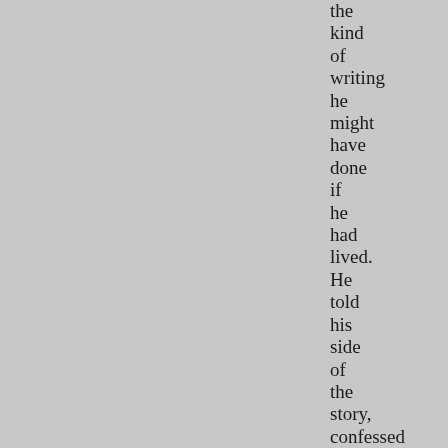the kind of writing he might have done if he had lived. He told his side of the story, confessed the crime he had denied